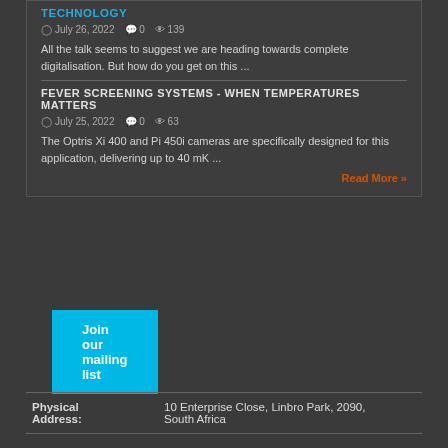TECHNOLOGY
July 26, 2022   0   139
All the talk seems to suggest we are heading towards complete digitalisation. But how do you get on this ...
FEVER SCREENING SYSTEMS - WHEN TEMPERATURES MATTERS
July 25, 2022   0   63
The Optris Xi 400 and Pi 450i cameras are specifically designed for this application, delivering up to 40 mK ...
Read More »
Join our mailing list
|  |  |
| --- | --- |
| Physical Address: | 10 Enterprise Close, Linbro Park, 2090, South Africa |